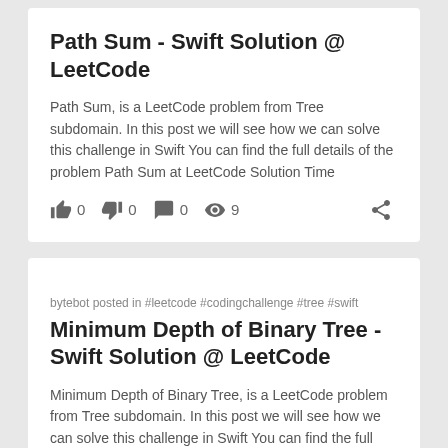Path Sum - Swift Solution @ LeetCode
Path Sum, is a LeetCode problem from Tree subdomain. In this post we will see how we can solve this challenge in Swift You can find the full details of the problem Path Sum at LeetCode Solution Time
👍 0  👎 0  💬 0  👁 9
bytebot posted in #leetcode #codingchallenge #tree #swift
Minimum Depth of Binary Tree - Swift Solution @ LeetCode
Minimum Depth of Binary Tree, is a LeetCode problem from Tree subdomain. In this post we will see how we can solve this challenge in Swift You can find the full details of the problem Minimum Depth o